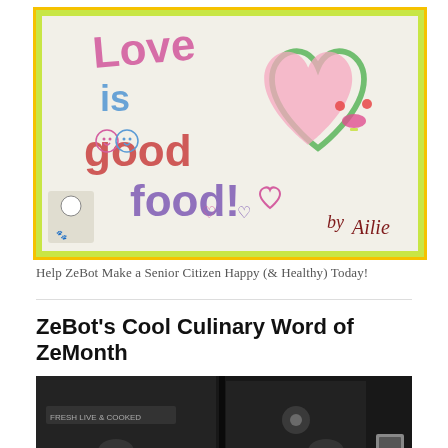[Figure (illustration): Children's crayon drawing on white paper with green and yellow border. Text reads 'Love is good food!' with smiley faces and hearts drawn around the letters, and a large pink heart with a face drawn on the right side. Small cartoon figure in bottom left corner. Signed 'by Ailie' in bottom right.]
Help ZeBot Make a Senior Citizen Happy (& Healthy) Today!
ZeBot's Cool Culinary Word of ZeMonth
[Figure (photo): Black and white photograph of what appears to be a market or store front with signs. Text 'FRESH LIVE & COOKED' partially visible.]